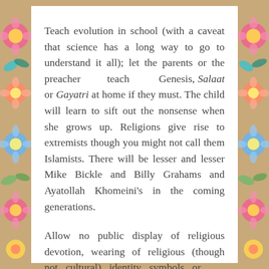Teach evolution in school (with a caveat that science has a long way to go to understand it all); let the parents or the preacher teach Genesis, Salaat or Gayatri at home if they must. The child will learn to sift out the nonsense when she grows up. Religions give rise to extremists though you might not call them Islamists. There will be lesser and lesser Mike Bickle and Billy Grahams and Ayatollah Khomeini's in the coming generations.
Allow no public display of religious devotion, wearing of religious (though not cultural) identity symbols or